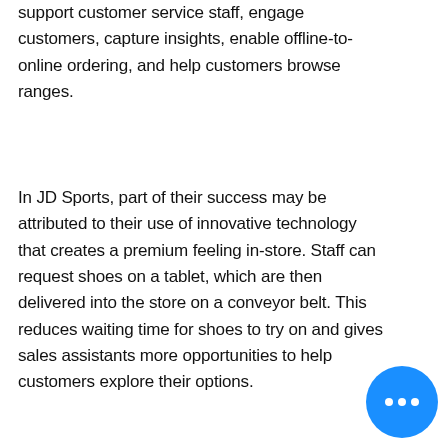support customer service staff, engage customers, capture insights, enable offline-to-online ordering, and help customers browse ranges.
In JD Sports, part of their success may be attributed to their use of innovative technology that creates a premium feeling in-store. Staff can request shoes on a tablet, which are then delivered into the store on a conveyor belt. This reduces waiting time for shoes to try on and gives sales assistants more opportunities to help customers explore their options.
[Figure (other): Blue circular chat bubble button with three white dots (ellipsis), positioned at bottom right corner]